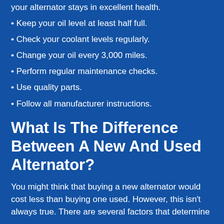your alternator stays in excellent health.
Keep your oil level at least half full.
Check your coolant levels regularly.
Change your oil every 3,000 miles.
Perform regular maintenance checks.
Use quality parts.
Follow all manufacturer instructions.
What Is The Difference Between A New And Used Alternator?
You might think that buying a new alternator would cost less than buying one used. However, this isn't always true. There are several factors that determine